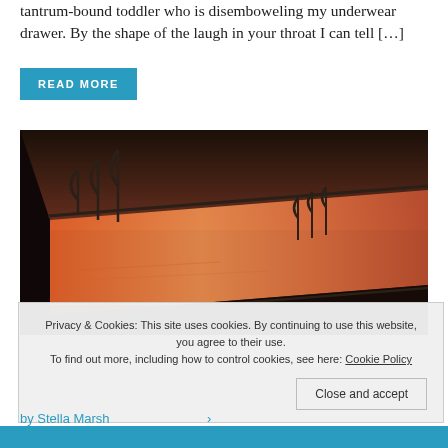tantrum-bound toddler who is disemboweling my underwear drawer. By the shape of the laugh in your throat I can tell […]
READ MORE
[Figure (photo): Dark moody photograph of an infinity pool at sunset with metal ladder railings silhouetted against an orange and pink sky reflected in the water]
Privacy & Cookies: This site uses cookies. By continuing to use this website, you agree to their use. To find out more, including how to control cookies, see here: Cookie Policy
Close and accept
by Stella Marsh...